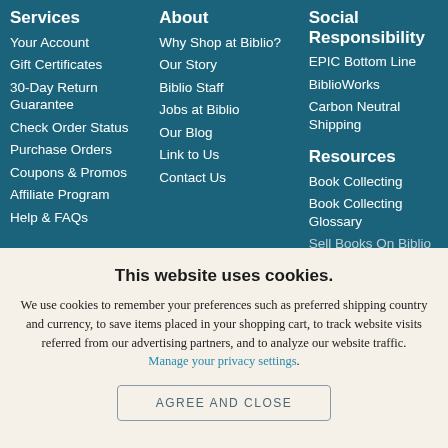Services
Your Account
Gift Certificates
30-Day Return Guarantee
Check Order Status
Purchase Orders
Coupons & Promos
Affiliate Program
Help & FAQs
About
Why Shop at Biblio?
Our Story
Biblio Staff
Jobs at Biblio
Our Blog
Link to Us
Contact Us
Social Responsibility
EPIC Bottom Line
BiblioWorks
Carbon Neutral Shipping
Resources
Book Collecting
Book Collecting Glossary
Sell Books On Biblio
This website uses cookies.
We use cookies to remember your preferences such as preferred shipping country and currency, to save items placed in your shopping cart, to track website visits referred from our advertising partners, and to analyze our website traffic. Manage your privacy settings.
AGREE AND CLOSE